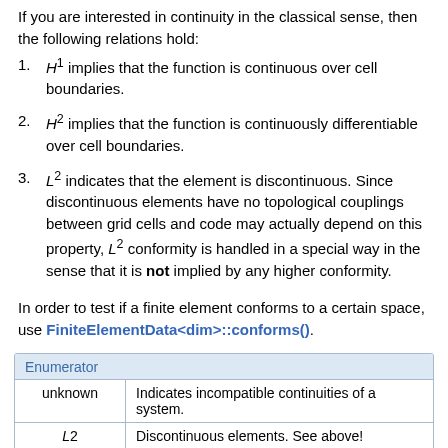If you are interested in continuity in the classical sense, then the following relations hold:
H^1 implies that the function is continuous over cell boundaries.
H^2 implies that the function is continuously differentiable over cell boundaries.
L^2 indicates that the element is discontinuous. Since discontinuous elements have no topological couplings between grid cells and code may actually depend on this property, L^2 conformity is handled in a special way in the sense that it is not implied by any higher conformity.
In order to test if a finite element conforms to a certain space, use FiniteElementData<dim>::conforms().
| Enumerator |  |
| --- | --- |
| unknown | Indicates incompatible continuities of a system. |
| L2 | Discontinuous elements. See above! |